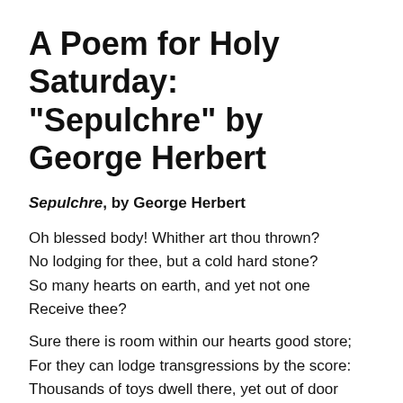A Poem for Holy Saturday: “Sepulchre” by George Herbert
Sepulchre, by George Herbert
Oh blessed body! Whither art thou thrown?
No lodging for thee, but a cold hard stone?
So many hearts on earth, and yet not one
Receive thee?
Sure there is room within our hearts good store;
For they can lodge transgressions by the score:
Thousands of toys dwell there, yet out of door
They leave thee.
But that which shows them large, shows them unfit.